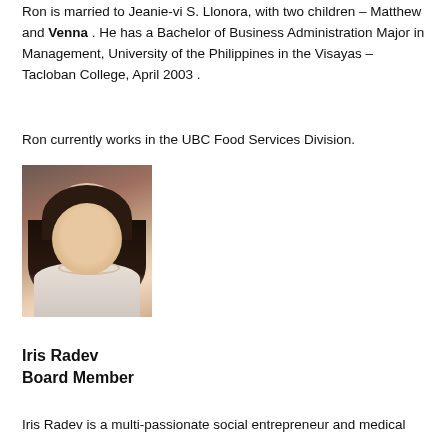Ron is married to Jeanie-vi S. Llonora, with two children – Matthew and Venna .  He has a Bachelor of Business Administration Major in Management, University of the Philippines in the Visayas – Tacloban College, April 2003 .
Ron currently works in the UBC Food Services Division.
[Figure (photo): Portrait photo of a woman with dark hair, smiling, wearing a pearl necklace and light-colored top.]
Iris Radev
Board Member
Iris Radev is a multi-passionate social entrepreneur and medical